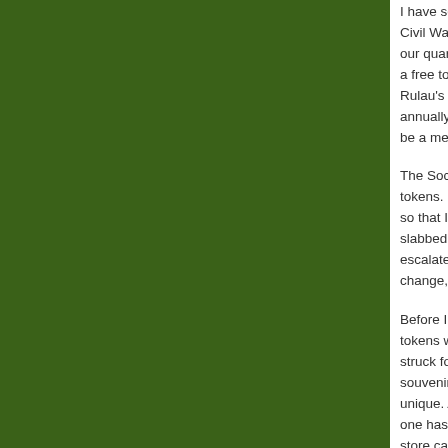[Figure (other): Dark green rectangular panel occupying the left roughly 87% of the page]
I have several ren... Civil War Token Society, our quarterly journal... a free to members... Rulau's are for sale... annually at the ANA... be a member, so c...
The Society's man... tokens. My tokens... so that I can look a... slabbed, purchase... escalate and I bega... change, but then s...
Before I end, I wan... tokens were coppe... struck for collectors... souvenir example o... unique. Another int... one has seen befo... store card book wh... opportunity to disc... important role in th... employee approac...